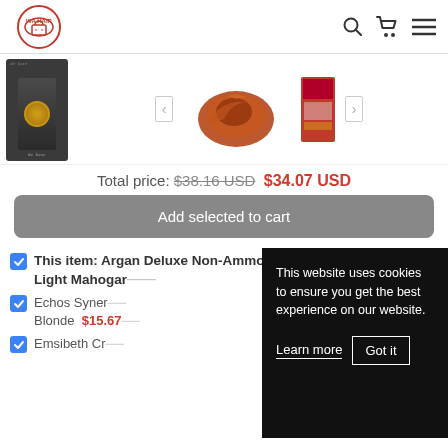WA HAIR — navigation header with logo, search, cart, and menu icons
[Figure (photo): Product images: hair dye tube (Argan Deluxe), a copper-auburn hair swatch, and product box, displayed in a carousel strip with left/right navigation arrows]
Total price: $38.16 USD $34.07 USD
Add selected to cart
This item: Argan Deluxe Non-Ammonia Permanent Colour 5/46 Light Mahogan...
Echos Syner... Blonde $15.67...
Emsibeth Cr...
[Figure (screenshot): Cookie consent banner: black overlay panel with text 'This website uses cookies to ensure you get the best experience on our website.' and two buttons: 'Learn more' (underlined) and 'Got it' (bordered button)]